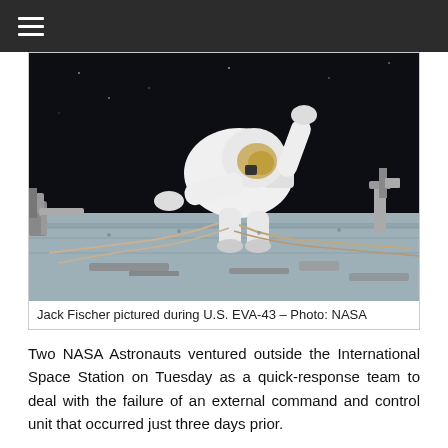☰
[Figure (photo): Astronaut Jack Fischer in a white spacesuit floating outside the International Space Station during U.S. EVA-43, with equipment and cables visible on the station exterior against a dark space background.]
Jack Fischer pictured during U.S. EVA-43 – Photo: NASA
Two NASA Astronauts ventured outside the International Space Station on Tuesday as a quick-response team to deal with the failure of an external command and control unit that occurred just three days prior.